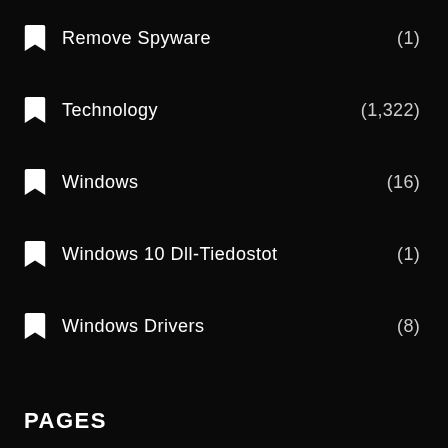Remove Spyware (1)
Technology (1,322)
Windows (16)
Windows 10 Dll-Tiedostot (1)
Windows Drivers (8)
PAGES
Contact Us
Disclaimer